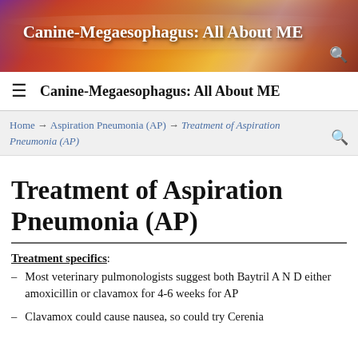[Figure (photo): Banner image with sunset/cloudy sky background in orange, red and gold tones with white bold text overlay reading 'Canine-Megaesophagus: All About ME']
Canine-Megaesophagus: All About ME
Home → Aspiration Pneumonia (AP) → Treatment of Aspiration Pneumonia (AP)
Treatment of Aspiration Pneumonia (AP)
Treatment specifics:
Most veterinary pulmonologists suggest both Baytril A N D either amoxicillin or clavamox for 4-6 weeks for AP
Clavamox could cause nausea, so could try Cerenia